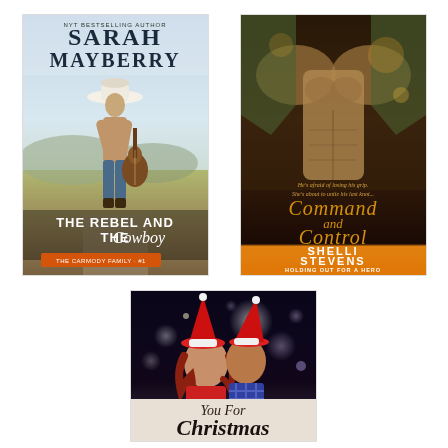[Figure (illustration): Book cover: The Rebel and the Cowboy by Sarah Mayberry. Shows a shirtless man with a cowboy hat and guitar standing in a desert/rural landscape. Text reads 'NYT Bestselling Author SARAH MAYBERRY' at top, 'THE REBEL AND THE Cowboy' in large text, and 'The Carmody Family #1' at bottom.]
[Figure (illustration): Book cover: Command and Control by Shelli Stevens. Shows muscular torso in camouflage. Text reads 'He's afraid of losing his grip. She's about to untie his last knot...' Command and Control in script, 'SHELLI STEVENS', 'New York Times and USA Today Bestselling Author', 'HOLDING OUT FOR A HERO' on orange banner at bottom.]
[Figure (illustration): Book cover: You For Christmas. Shows a couple wearing Santa hats kissing against a bokeh light background. Text reads 'You For Christmas' in white script at the bottom.]